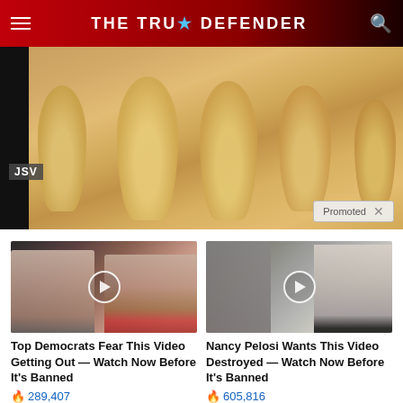THE TRUE DEFENDER
[Figure (photo): Close-up photo of fingers with yellowed/discolored fingernails, with JSV tag overlay and Promoted label in corner]
[Figure (photo): Video thumbnail showing two people, with play button overlay. Article: Top Democrats Fear This Video Getting Out — Watch Now Before It's Banned. Views: 289,407]
Top Democrats Fear This Video Getting Out — Watch Now Before It's Banned
289,407
[Figure (photo): Video thumbnail showing a woman outdoors near a building, with play button overlay. Article: Nancy Pelosi Wants This Video Destroyed — Watch Now Before It's Banned. Views: 605,816]
Nancy Pelosi Wants This Video Destroyed — Watch Now Before It's Banned
605,816